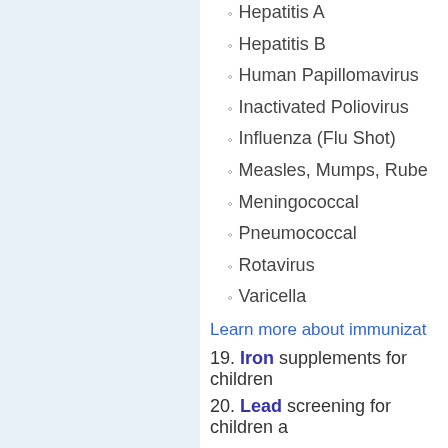Hepatitis A
Hepatitis B
Human Papillomavirus
Inactivated Poliovirus
Influenza (Flu Shot)
Measles, Mumps, Rube…
Meningococcal
Pneumococcal
Rotavirus
Varicella
Learn more about immunizat…
19. Iron supplements for children…
20. Lead screening for children a…